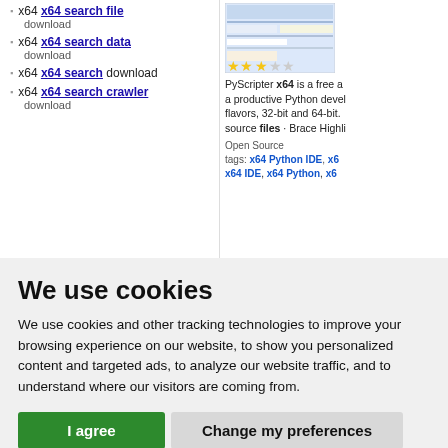x64 x64 search file download
x64 x64 search data download
x64 x64 search download
x64 x64 search crawler download
[Figure (screenshot): Screenshot of software with star rating showing approximately 2.5 out of 5 stars]
PyScripter x64 is a free and a productive Python development flavors, 32-bit and 64-bit. source files · Brace Highli Open Source tags: x64 Python IDE, x6 x64 IDE, x64 Python, x6
We use cookies
We use cookies and other tracking technologies to improve your browsing experience on our website, to show you personalized content and targeted ads, to analyze our website traffic, and to understand where our visitors are coming from.
I agree
Change my preferences